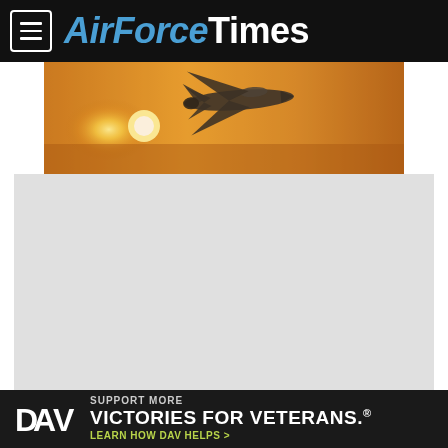AirForceTimes
[Figure (photo): Fighter jet (F-16 or similar) silhouetted against a golden sunset sky, flying low, viewed from a slightly elevated angle. Dramatic orange and yellow hues.]
[Figure (other): Grey advertisement placeholder box]
In-flight testing is conducted to certify a Negatively Pressurized Conex prototype on a C-17 Globemaster III, April 30, 2020. The NPC is designed to transport individuals with the COVID-19 virus and other highly infectious diseases, all while preventing the aircrew and medical professionals onboard from being exposed. (U.S. Air Force photo by Staff Sgt. Chris Drzazgowski)
[Figure (infographic): DAV (Disabled American Veterans) advertisement banner: 'SUPPORT MORE VICTORIES FOR VETERANS. LEARN HOW DAV HELPS >' on dark background with DAV logo in white.]